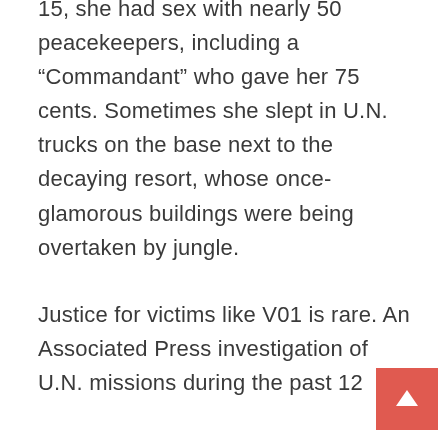15, she had sex with nearly 50 peacekeepers, including a “Commandant” who gave her 75 cents. Sometimes she slept in U.N. trucks on the base next to the decaying resort, whose once-glamorous buildings were being overtaken by jungle.
Justice for victims like V01 is rare. An Associated Press investigation of U.N. missions during the past 12